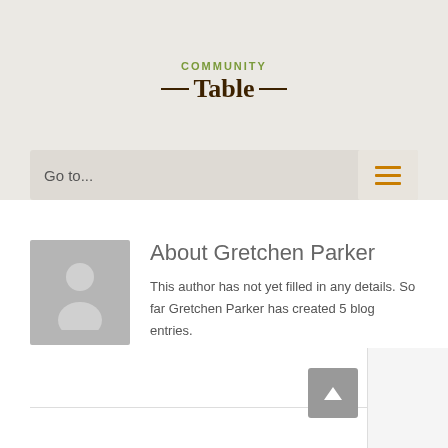[Figure (logo): Community Table logo with green 'COMMUNITY' text above brown 'Table' with horizontal lines on either side]
Go to...
About Gretchen Parker
This author has not yet filled in any details. So far Gretchen Parker has created 5 blog entries.